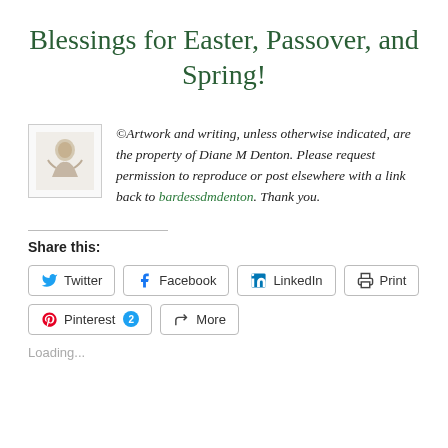Blessings for Easter, Passover, and Spring!
©Artwork and writing, unless otherwise indicated, are the property of Diane M Denton. Please request permission to reproduce or post elsewhere with a link back to bardessdmdenton. Thank you.
Share this:
Twitter  Facebook  LinkedIn  Print  Pinterest 2  More
Loading...